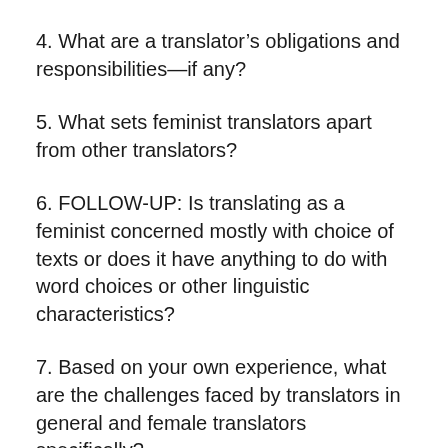4. What are a translator's obligations and responsibilities—if any?
5. What sets feminist translators apart from other translators?
6. FOLLOW-UP: Is translating as a feminist concerned mostly with choice of texts or does it have anything to do with word choices or other linguistic characteristics?
7. Based on your own experience, what are the challenges faced by translators in general and female translators specifically?